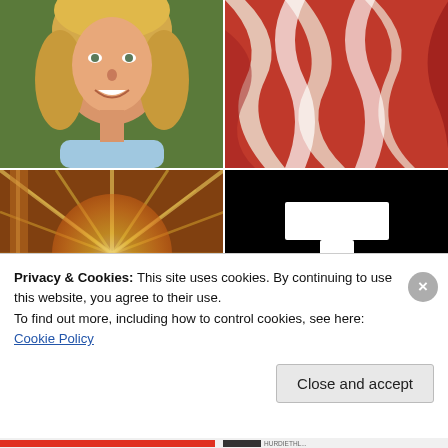[Figure (photo): Top-left: Portrait photo of a smiling blonde woman in a light blue top, cropped to show face and shoulders, against a green background.]
[Figure (photo): Top-right: Close-up photo of red and white striped fabric or flag, draped with folds.]
[Figure (photo): Bottom-left: Abstract radial zoom blur of golden and orange tones, resembling a starburst or sunburst effect.]
[Figure (illustration): Bottom-right: Black background with a large white letter T centered.]
Privacy & Cookies: This site uses cookies. By continuing to use this website, you agree to their use.
To find out more, including how to control cookies, see here: Cookie Policy
Close and accept